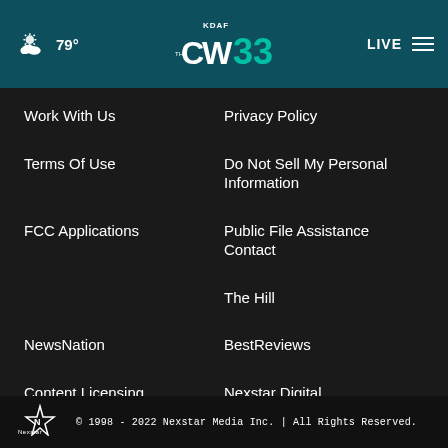KDAF CW 33 — 79° — LIVE
Work With Us
Privacy Policy
Terms Of Use
Do Not Sell My Personal Information
FCC Applications
Public File Assistance Contact
The Hill
NewsNation
BestReviews
Content Licensing
Nexstar Digital
© 1998 - 2022 Nexstar Media Inc. | All Rights Reserved.